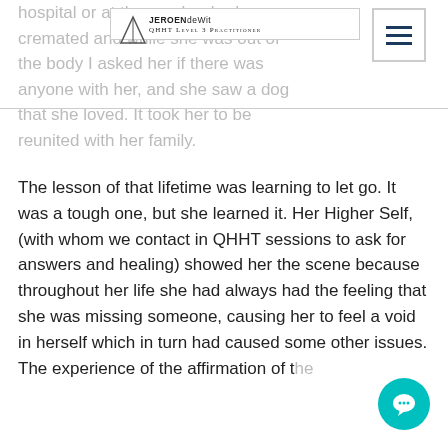hospital or at the age her body was cremated and while she was out of the body I asked her if there was anyone with her, and she saw a dog that she loved. It took her to be reunited with her family.
[Figure (logo): Jeroen de Wit QHHT Level 3 Practitioner logo with triangle symbol and menu hamburger button overlay]
The lesson of that lifetime was learning to let go. It was a tough one, but she learned it. Her Higher Self, (with whom we contact in QHHT sessions to ask for answers and healing) showed her the scene because throughout her life she had always had the feeling that she was missing someone, causing her to feel a void in herself which in turn had caused some other issues. The experience of the affirmation of the